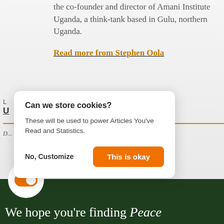the co-founder and director of Amani Institute Uganda, a think-tank based in Gulu, northern Uganda.
Read more from Stephen Oola
L
U
Disclaimers in this article are those of the author or position of P...
[Figure (screenshot): Cookie consent modal dialog with title 'Can we store cookies?', body text 'These will be used to power Articles You've Read and Statistics.', and two buttons: 'No, Customize' and 'This is okay']
[Figure (infographic): Toggle switch icon in white circle on dark green background]
We hope you're finding Peace